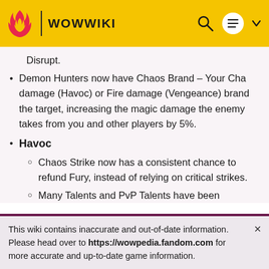WOWWIKI
Disrupt.
Demon Hunters now have Chaos Brand – Your Cha... damage (Havoc) or Fire damage (Vengeance) brands the target, increasing the magic damage the enemy takes from you and other players by 5%.
Havoc
Chaos Strike now has a consistent chance to refund Fury, instead of relying on critical strikes.
Many Talents and PvP Talents have been adjusted.
New Talents include:
This wiki contains inaccurate and out-of-date information. Please head over to https://wowpedia.fandom.com for more accurate and up-to-date game information.